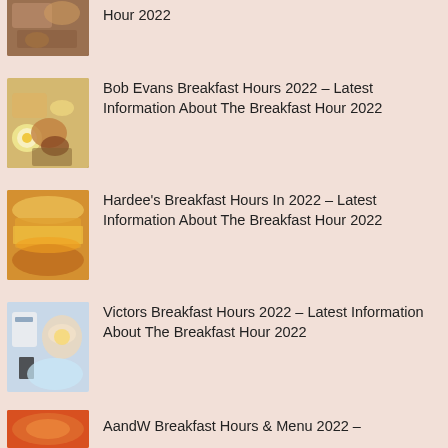Hour 2022
Bob Evans Breakfast Hours 2022 – Latest Information About The Breakfast Hour 2022
Hardee's Breakfast Hours In 2022 – Latest Information About The Breakfast Hour 2022
Victors Breakfast Hours 2022 – Latest Information About The Breakfast Hour 2022
AandW Breakfast Hours & Menu 2022 –